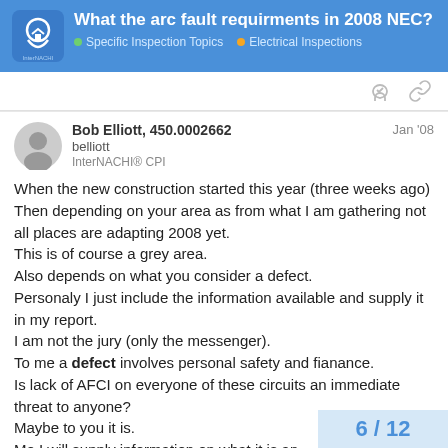What the arc fault requirments in 2008 NEC?
Specific Inspection Topics  Electrical Inspections
Bob Elliott, 450.0002662
belliott
InterNACHI® CPI
Jan '08
When the new construction started this year (three weeks ago)
Then depending on your area as from what I am gathering not all places are adapting 2008 yet.
This is of course a grey area.
Also depends on what you consider a defect.
Personaly I just include the information available and supply it in my report.
I am not the jury (only the messenger).
To me a defect involves personal safety and fianance.
Is lack of AFCI on everyone of these circuits an immediate threat to anyone?
Maybe to you it is.
Me I will supply information on what it is an
6 / 12